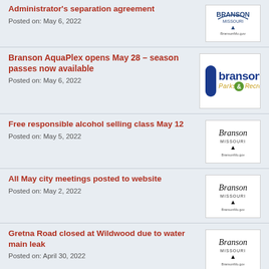Administrator's separation agreement
Posted on: May 6, 2022
Branson AquaPlex opens May 28 – season passes now available
Posted on: May 6, 2022
Free responsible alcohol selling class May 12
Posted on: May 5, 2022
All May city meetings posted to website
Posted on: May 2, 2022
Gretna Road closed at Wildwood due to water main leak
Posted on: April 30, 2022
UPDATED: City releases minutes of April